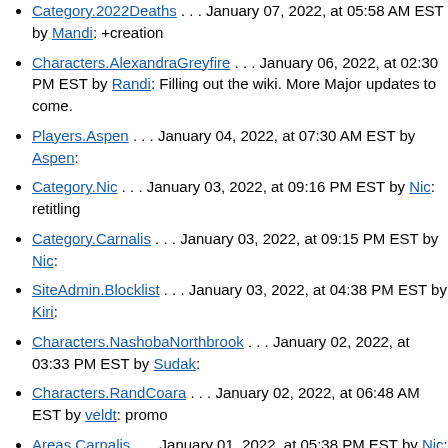Category.2022Deaths . . . January 07, 2022, at 05:58 AM EST by Mandi: +creation
Characters.AlexandraGreyfire . . . January 06, 2022, at 02:30 PM EST by Randi: Filling out the wiki. More Major updates to come.
Players.Aspen . . . January 04, 2022, at 07:30 AM EST by Aspen:
Category.Nic . . . January 03, 2022, at 09:16 PM EST by Nic: retitling
Category.Carnalis . . . January 03, 2022, at 09:15 PM EST by Nic:
SiteAdmin.Blocklist . . . January 03, 2022, at 04:38 PM EST by Kiri:
Characters.NashobaNorthbrook . . . January 02, 2022, at 03:33 PM EST by Sudak:
Characters.RandCoara . . . January 02, 2022, at 06:48 AM EST by veldt: promo
Areas.Carnalis . . . January 01, 2022, at 05:38 PM EST by Nic: retitling fi...